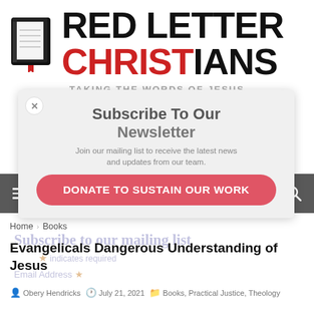[Figure (logo): Red Letter Christians logo with book icon and site name]
TAKING THE WORDS OF JESUS SERIOUSLY
[Figure (screenshot): Subscribe To Our Newsletter popup overlay with join mailing list text]
[Figure (infographic): DONATE TO SUSTAIN OUR WORK button in red/pink rounded rectangle]
Navigation bar with hamburger menu and search icon
Home > Books
Subscribe to our mailing list
* indicates required
Email Address *
Evangelicals Dangerous Understanding of Jesus
Obery Hendricks  July 21, 2021  Books, Practical Justice, Theology